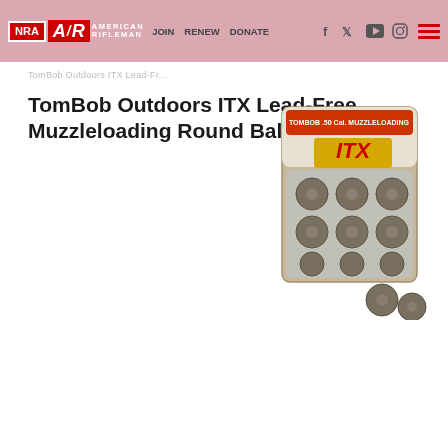NRA | AMERICAN RIFLEMAN | JOIN | RENEW | DONATE
TomBob Outdoors ITX Lead-Free Muzzleloading Round Balls
[Figure (photo): Product photo of TomBob Outdoors ITX lead-free muzzleloading round balls in blister pack, with several round balls displayed outside the package]